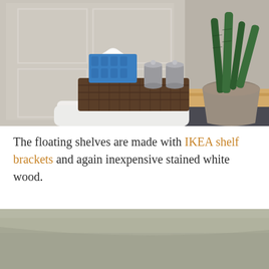[Figure (photo): Bathroom scene showing toilet tank top with a dark wicker basket holding a blue tissue box and two silver metallic containers. White wainscoting panels visible on the wall behind. To the right, a wooden countertop with a ceramic pot holding a snake plant.]
The floating shelves are made with IKEA shelf brackets and again inexpensive stained white wood.
[Figure (photo): Close-up photo of what appears to be a sage green or pale olive colored surface, likely a shelf or countertop, with soft shadows.]